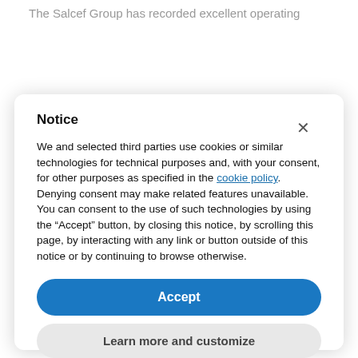The Salcef Group has recorded excellent operating
[Figure (logo): Salcef Group logo with two wing-like blue emblems and text 'SALCEF GROUP' below]
Notice
We and selected third parties use cookies or similar technologies for technical purposes and, with your consent, for other purposes as specified in the cookie policy. Denying consent may make related features unavailable.
You can consent to the use of such technologies by using the “Accept” button, by closing this notice, by scrolling this page, by interacting with any link or button outside of this notice or by continuing to browse otherwise.
Accept
Learn more and customize